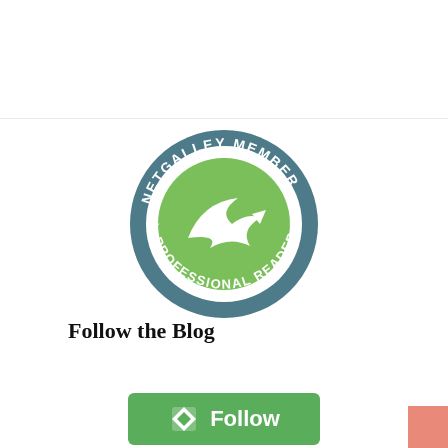Hunger Games Prequel Is in the Works
[Figure (logo): NetGalley Member Professional Reader circular badge/seal with green swoosh logo on teal background]
Follow the Blog
[Figure (other): Green Follow button with Bloglovin diamond icon]